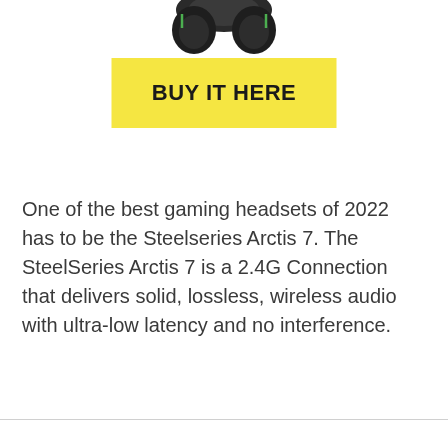[Figure (photo): Partial view of a gaming headset (SteelSeries Arctis 7) shown from above, cropped at the top of the page]
BUY IT HERE
One of the best gaming headsets of 2022 has to be the Steelseries Arctis 7. The SteelSeries Arctis 7 is a 2.4G Connection that delivers solid, lossless, wireless audio with ultra-low latency and no interference.